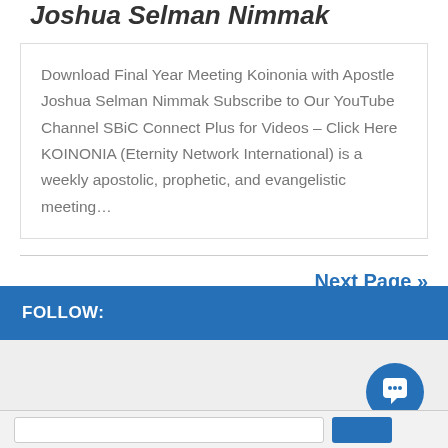Joshua Selman Nimmak
Download Final Year Meeting Koinonia with Apostle Joshua Selman Nimmak Subscribe to Our YouTube Channel SBiC Connect Plus for Videos – Click Here KOINONIA (Eternity Network International) is a weekly apostolic, prophetic, and evangelistic meeting…
Next Page »
FOLLOW: